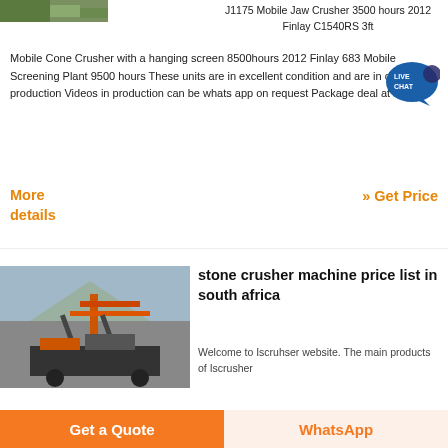[Figure (photo): Top left image of quarry/rock mining area, partially visible]
J1175 Mobile Jaw Crusher 3500 hours 2012 Finlay C1540RS 3ft Mobile Cone Crusher with a hanging screen 8500hours 2012 Finlay 683 Mobile Screening Plant 9500 hours These units are in excellent condition and are in daily production Videos in production can be whats app on request Package deal at R55m
[Figure (infographic): Live Chat speech bubble icon with text LIVE CHAT]
More details
» Get Price
[Figure (photo): Stone crusher machine / screening plant in a quarry setting]
stone crusher machine price list in south africa
Welcome to Iscruhser website. The main products of Iscrusher
Get a Quote
WhatsApp